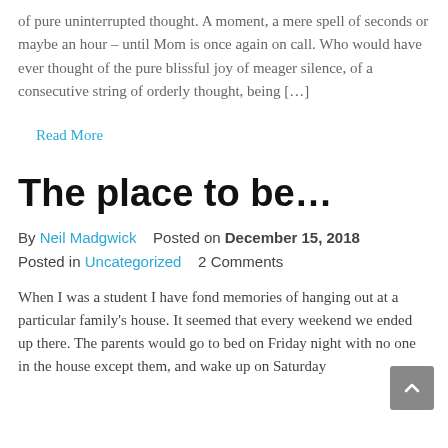of pure uninterrupted thought. A moment, a mere spell of seconds or maybe an hour – until Mom is once again on call. Who would have ever thought of the pure blissful joy of meager silence, of a consecutive string of orderly thought, being […]
Read More
The place to be…
By Neil Madgwick   Posted on December 15, 2018
Posted in Uncategorized   2 Comments
When I was a student I have fond memories of hanging out at a particular family's house. It seemed that every weekend we ended up there. The parents would go to bed on Friday night with no one in the house except them, and wake up on Saturday